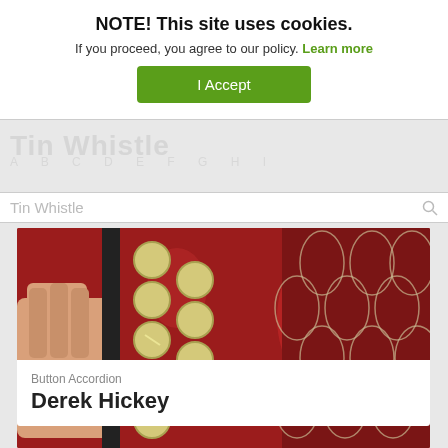NOTE! This site uses cookies.
If you proceed, you agree to our policy. Learn more
I Accept
Tin Whistle
[Figure (photo): Close-up photograph of a red button accordion being held by a hand, showing yellow/cream-colored buttons on the left side and a decorative grille with floral pattern on the right side.]
Button Accordion
Derek Hickey